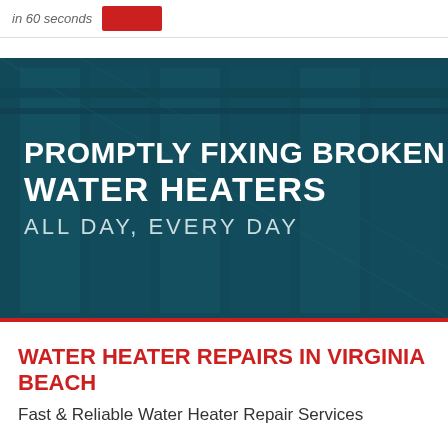in 60 seconds
[Figure (photo): Dark teal-tinted photo of water heater tanks with overlaid text: PROMPTLY FIXING BROKEN WATER HEATERS ALL DAY, EVERY DAY]
WATER HEATER REPAIRS IN VIRGINIA BEACH
Fast & Reliable Water Heater Repair Services